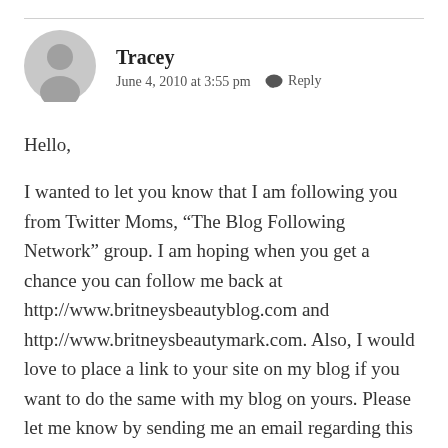[Figure (illustration): Generic grey user avatar icon showing a silhouette of a person]
Tracey
June 4, 2010 at 3:55 pm  Reply
Hello,

I wanted to let you know that I am following you from Twitter Moms, “The Blog Following Network” group. I am hoping when you get a chance you can follow me back at http://www.britneysbeautyblog.com and http://www.britneysbeautymark.com. Also, I would love to place a link to your site on my blog if you want to do the same with my blog on yours. Please let me know by sending me an email regarding this and it has been nice meeting you via